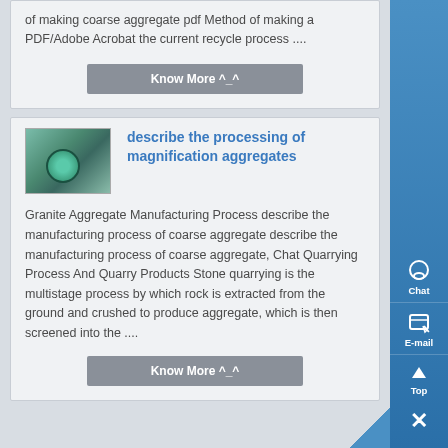of making coarse aggregate pdf Method of making a PDF/Adobe Acrobat the current recycle process ....
Know More ^_^
[Figure (photo): Thumbnail image of industrial aggregate processing machinery, green-toned machine with circular components]
describe the processing of magnification aggregates
Granite Aggregate Manufacturing Process describe the manufacturing process of coarse aggregate describe the manufacturing process of coarse aggregate, Chat Quarrying Process And Quarry Products Stone quarrying is the multistage process by which rock is extracted from the ground and crushed to produce aggregate, which is then screened into the ....
Know More ^_^
[Figure (infographic): Right sidebar with blue gradient background containing Chat, E-mail, Top, and close (X) navigation icons in white]